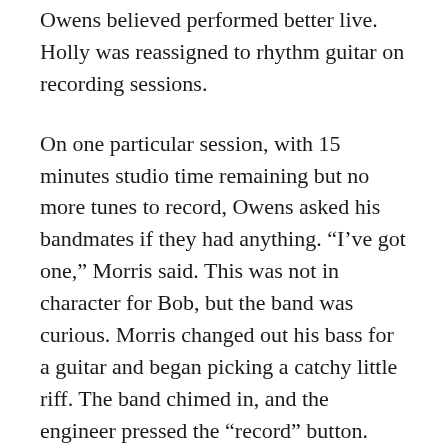Owens believed performed better live. Holly was reassigned to rhythm guitar on recording sessions.
On one particular session, with 15 minutes studio time remaining but no more tunes to record, Owens asked his bandmates if they had anything. “I’ve got one,” Morris said. This was not in character for Bob, but the band was curious. Morris changed out his bass for a guitar and began picking a catchy little riff. The band chimed in, and the engineer pressed the “record” button. When they were done, they had a complete instrumental, which Owens temporarily titled “Paris.” That little tune would forever be associated with Buck Owens and was eventually christened “Buckaroo.” It